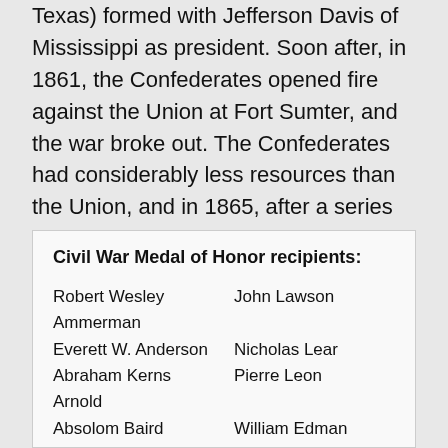Texas) formed with Jefferson Davis of Mississippi as president. Soon after, in 1861, the Confederates opened fire against the Union at Fort Sumter, and the war broke out. The Confederates had considerably less resources than the Union, and in 1865, after a series of defeats for the Confederates, they surrendered. After a period of Reconstruction, the United States of America was restored.
| Civil War Medal of Honor recipients: |
| --- |
| Robert Wesley Ammerman | John Lawson |
| Everett W. Anderson | Nicholas Lear |
| Abraham Kerns Arnold | Pierre Leon |
| Absolom Baird | William Edman Leonard |
| Charles H. Baldwin | Dewitt Clinton lewis |
| Eugene Beauharnais Beaumont | John Lilley |
| Orrin Bennett | Benjamin Lloyd |
| William H.H. Benyaurd | Cyrus B. Lower |
| Charles Malone Betts | Gotlieb Luty |
| Hillary Boyer | Charles D. Marquette |